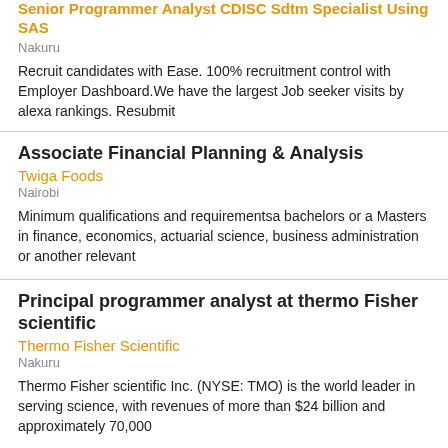Senior Programmer Analyst CDISC Sdtm Specialist Using SAS
Nakuru
Recruit candidates with Ease. 100% recruitment control with Employer Dashboard.We have the largest Job seeker visits by alexa rankings. Resubmit
Associate Financial Planning & Analysis
Twiga Foods
Nairobi
Minimum qualifications and requirementsa bachelors or a Masters in finance, economics, actuarial science, business administration or another relevant
Principal programmer analyst at thermo Fisher scientific
Thermo Fisher Scientific
Nakuru
Thermo Fisher scientific Inc. (NYSE: TMO) is the world leader in serving science, with revenues of more than $24 billion and approximately 70,000
Senior Programmer Analyst Cdisc Sdtm Specialist Using Sas At Thermo Fisher
Thermo Fisher Scientific
Nakuru